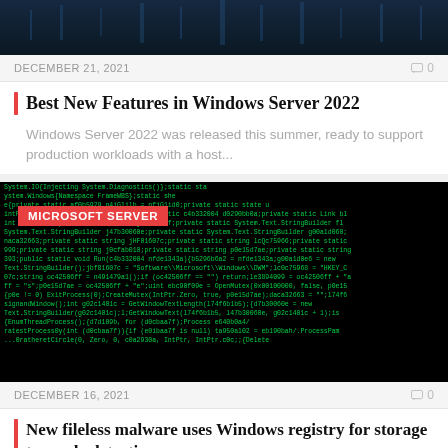[Figure (photo): Dark blue server room / network technology background image at top]
DECEMBER 21, 2021   0
Best New Features in Windows Server 2022
Windows Server 2022 was released this summer, ready to support production workloads with a host...
[Figure (screenshot): Dark terminal/code screenshot showing green-on-black malware source code with MICROSOFT SERVER badge overlay]
DECEMBER 16, 2021   0
New fileless malware uses Windows registry for storage to evade detection